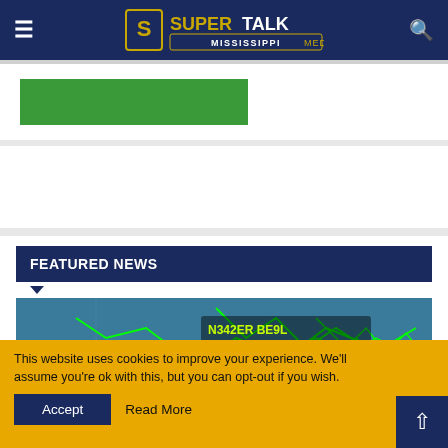SuperTalk Mississippi Media
[Figure (screenshot): Green advertisement banner placeholder]
[Figure (screenshot): White advertisement block placeholder]
FEATURED NEWS
[Figure (map): Aviation flight tracking map showing green flight path lines over blue map background. Label reads: N342ER BE9L ^1100 165 TUP TUP 06:31AM. Location marker shows TUP.]
This website uses cookies to improve your experience. We'll assume you're ok with this, but you can opt-out if you wish.
Accept
Read More